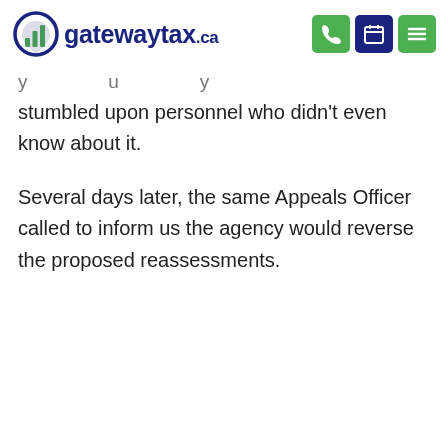gatewaytax.ca
stumbled upon personnel who didn't even know about it.
Several days later, the same Appeals Officer called to inform us the agency would reverse the proposed reassessments.